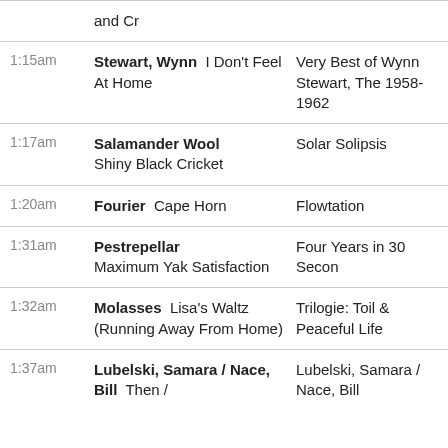| Time | Artist / Song | Album |
| --- | --- | --- |
|  | and Cr |  |
| 1:15am | Stewart, Wynn   I Don't Feel At Home | Very Best of Wynn Stewart, The 1958-1962 |
| 1:17am | Salamander Wool   Shiny Black Cricket | Solar Solipsis |
| 1:20am | Fourier   Cape Horn | Flowtation |
| 1:31am | Pestrepellar   Maximum Yak Satisfaction | Four Years in 30 Secon |
| 1:32am | Molasses   Lisa's Waltz (Running Away From Home) | Trilogie: Toil & Peaceful Life |
| 1:37am | Lubelski, Samara / Nace, Bill   Then / | Lubelski, Samara / Nace, Bill |